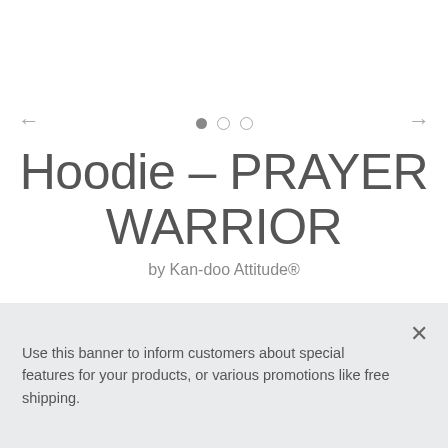[Figure (other): Carousel navigation with left arrow, three dots (one filled, two empty), and right arrow]
Hoodie – PRAYER WARRIOR
by Kan-doo Attitude®
$58.00
SIZE:  S  M  L  XL  2XL
Use this banner to inform customers about special features for your products, or various promotions like free shipping.